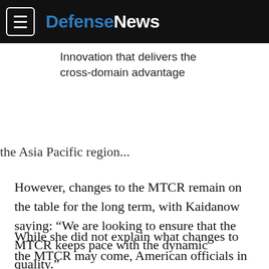DefenseNews
Innovation that delivers the cross-domain advantage
the Asia Pacific region...
However, changes to the MTCR remain on the table for the long term, with Kaidanow saying: “We are looking to ensure that the MTCR keeps pace with the dynamic quality.”
While she did not explain what changes to the MTCR may come, American officials in October floated a whitepaper to allies proposing that any air vehicle that flies under 650 kilometers per